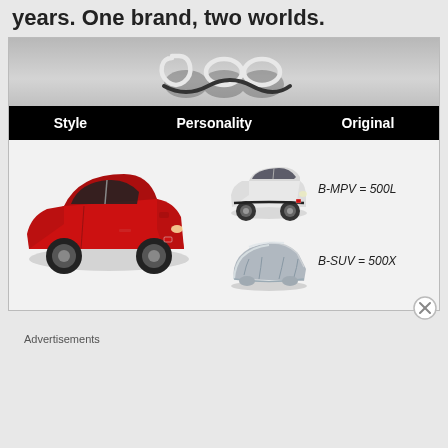years. One brand, two worlds.
[Figure (infographic): Fiat 500 brand advertisement showing logo at top, black header bar with Style, Personality, Original labels, red Fiat 500 car on left, white Fiat 500L B-MPV on right, silver-covered Fiat 500X B-SUV on right with labels B-MPV = 500L and B-SUV = 500X]
Advertisements